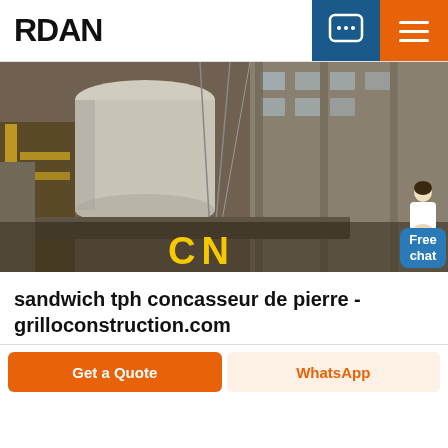RDAN
[Figure (photo): Construction site photo showing heavy industrial equipment, concrete structures, scaffolding, and a crane beam with yellow 'CN' letters visible in the foreground. A chatbot avatar with 'Free chat' bubble appears in the lower right corner.]
sandwich tph concasseur de pierre - grilloconstruction.com
Get a Quote
WhatsApp